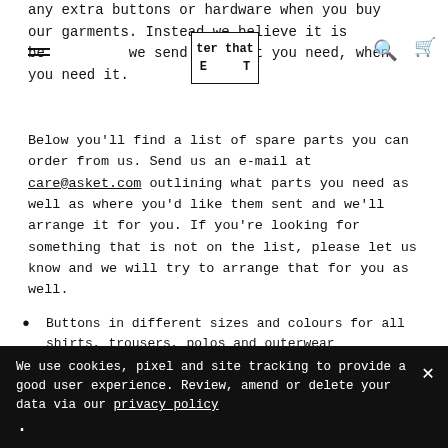any extra buttons or hardware when you buy our garments. Instead we believe it is better that we send you what you need, when you need it.
[Figure (logo): ASKET logo box with letters arranged in a grid: top row 'ASKET', middle row 'E T']
Below you'll find a list of spare parts you can order from us. Send us an e-mail at care@asket.com outlining what parts you need as well as where you'd like them sent and we'll arrange it for you. If you're looking for something that is not on the list, please let us know and we will try to arrange that for you as well.
Buttons in different sizes and colours for all shirts, trousers, polos and outerwear
Sewing threads in original colours for attaching main labels, buttons and other repairs
White and black ASKET labels
Fabric pieces for all the garments if patching is necessary (not available for knitwear)
We use cookies, pixel and site tracking to provide a good user experience. Review, amend or delete your data via our privacy policy .